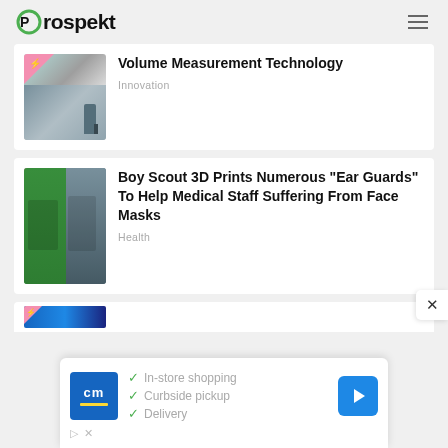Prospekt
[Figure (photo): Thumbnail image for Volume Measurement Technology article showing equipment and a person]
Volume Measurement Technology
Innovation
[Figure (photo): Thumbnail image for Boy Scout 3D Prints article showing a boy scout and medical staff]
Boy Scout 3D Prints Numerous "Ear Guards" To Help Medical Staff Suffering From Face Masks
Health
[Figure (photo): Partial thumbnail of a third article with blue background]
In-store shopping
Curbside pickup
Delivery